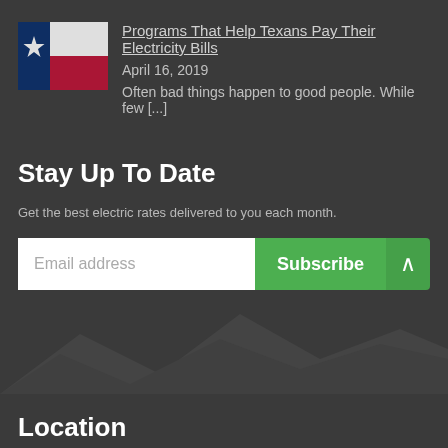[Figure (photo): Texas state flag thumbnail image]
Programs That Help Texans Pay Their Electricity Bills
April 16, 2019
Often bad things happen to good people. While few [...]
Stay Up To Date
Get the best electric rates delivered to you each month.
Email address  Subscribe
[Figure (illustration): Mountain silhouette background]
Location
Texas Electricity Examiner